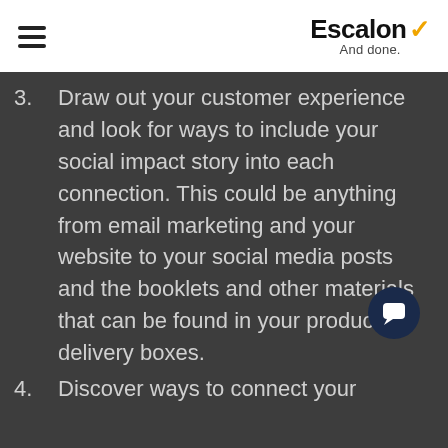Escalon ✓ And done.
3. Draw out your customer experience and look for ways to include your social impact story into each connection. This could be anything from email marketing and your website to your social media posts and the booklets and other materials that can be found in your product delivery boxes.
4. Discover ways to connect your